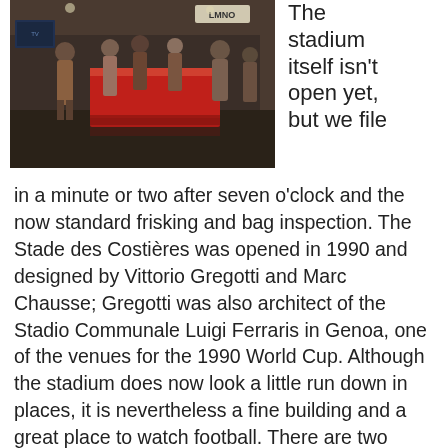[Figure (photo): Interior photo of a stadium concourse area with people standing around a red illuminated bar/counter. Signs visible in background including 'LMNO'. Dim lighting with a modern interior.]
The stadium itself isn't open yet, but we file in a minute or two after seven o'clock and the now standard frisking and bag inspection. The Stade des Costières was opened in 1990 and designed by Vittorio Gregotti and Marc Chausse; Gregotti was also architect of the Stadio Communale Luigi Ferraris in Genoa, one of the venues for the 1990 World Cup. Although the stadium does now look a little run down in places, it is nevertheless a fine building and a great place to watch football. There are two broad sweeps of grey seating on either side with roofs suspended from exposed